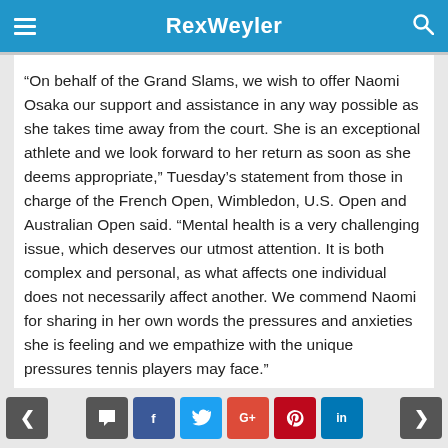RexWeyler
“On behalf of the Grand Slams, we wish to offer Naomi Osaka our support and assistance in any way possible as she takes time away from the court. She is an exceptional athlete and we look forward to her return as soon as she deems appropriate,” Tuesday’s statement from those in charge of the French Open, Wimbledon, U.S. Open and Australian Open said. “Mental health is a very challenging issue, which deserves our utmost attention. It is both complex and personal, as what affects one individual does not necessarily affect another. We commend Naomi for sharing in her own words the pressures and anxieties she is feeling and we empathize with the unique pressures tennis players may face.”
< [comment] f t G+ P in >